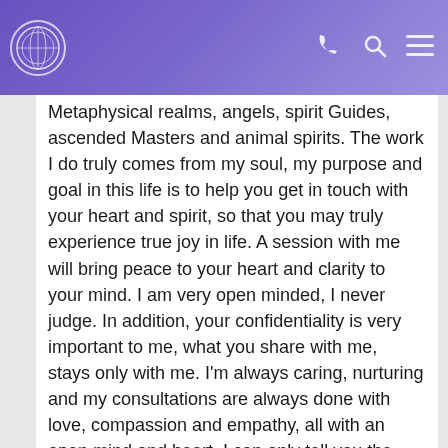[Logo] [Phone icon] [Search icon] [Menu icon]
Metaphysical realms, angels, spirit Guides, ascended Masters and animal spirits. The work I do truly comes from my soul, my purpose and goal in this life is to help you get in touch with your heart and spirit, so that you may truly experience true joy in life. A session with me will bring peace to your heart and clarity to your mind. I am very open minded, I never judge. In addition, your confidentiality is very important to me, what you share with me, stays only with me. I'm always caring, nurturing and my consultations are always done with love, compassion and empathy, all with an open mind and heart. I can only tell you the honest truth shown to me by Spirit, and not what you want to hear. ~Blessings of divine light and love~
Soy un Maestro Psíquico, Mediano, Clarividente, Sanador, Intuitivo, Practicante de Reiki, Lector de energía, Sensible, Consejero espiritual, Empath y Channeler nacido de forma natural, bendecido con